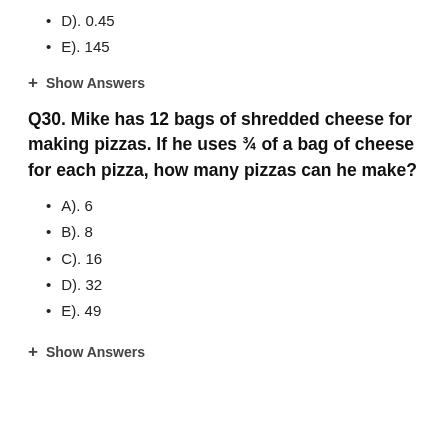D). 0.45
E). 145
+ Show Answers
Q30. Mike has 12 bags of shredded cheese for making pizzas. If he uses ¾ of a bag of cheese for each pizza, how many pizzas can he make?
A). 6
B). 8
C). 16
D). 32
E). 49
+ Show Answers